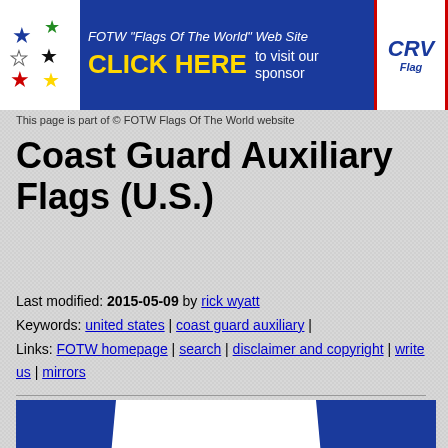[Figure (screenshot): FOTW Flags Of The World website banner ad with blue background, stars on white left panel, CLICK HERE in yellow, 'to visit our sponsor' text, and CRW Flags logo on right]
This page is part of © FOTW Flags Of The World website
Coast Guard Auxiliary Flags (U.S.)
Last modified: 2015-05-09 by rick wyatt
Keywords: united states | coast guard auxiliary |
Links: FOTW homepage | search | disclaimer and copyright | write us | mirrors
[Figure (photo): Coast Guard Auxiliary flag - blue and white with diagonal stripe and U.S. Coast Guard Auxiliary seal/emblem in center]